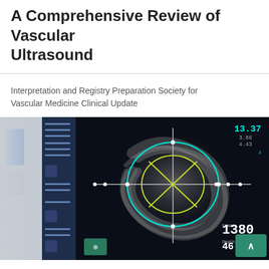A Comprehensive Review of Vascular Ultrasound
Interpretation and Registry Preparation Society for Vascular Medicine Clinical Update
[Figure (photo): Vascular ultrasound screen showing echocardiogram with circular measurement overlay in teal and yellow-green on dark background, with numeric readouts including 13.37, Frame 1380, and Depth 46.0 mm. Left side shows blurred clinical environment.]